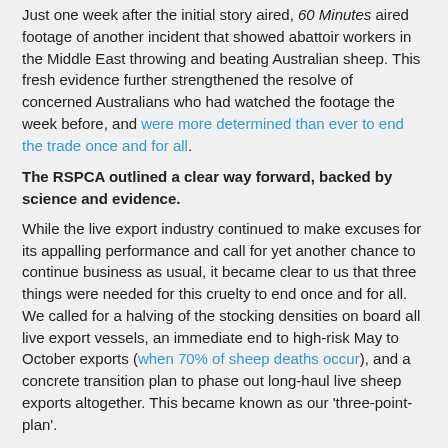Just one week after the initial story aired, 60 Minutes aired footage of another incident that showed abattoir workers in the Middle East throwing and beating Australian sheep. This fresh evidence further strengthened the resolve of concerned Australians who had watched the footage the week before, and were more determined than ever to end the trade once and for all.
The RSPCA outlined a clear way forward, backed by science and evidence.
While the live export industry continued to make excuses for its appalling performance and call for yet another chance to continue business as usual, it became clear to us that three things were needed for this cruelty to end once and for all. We called for a halving of the stocking densities on board all live export vessels, an immediate end to high-risk May to October exports (when 70% of sheep deaths occur), and a concrete transition plan to phase out long-haul live sheep exports altogether. This became known as our 'three-point-plan'.
There was little sign of change from the industry.
However, no suspension to the trade was announced, and the Maysora - the next live export ship in line to leave for the Middle East - was loaded and allowed to leave Fremantle on April 19, with only